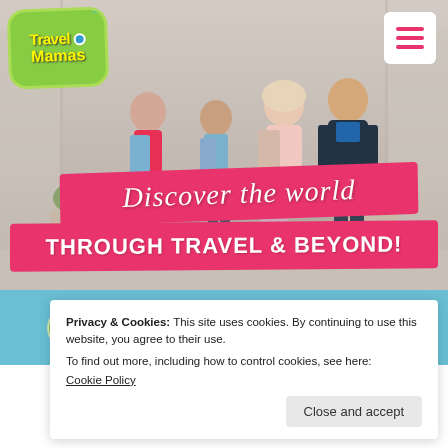[Figure (photo): Travel Mamas website screenshot showing a family of four (two adults, two children) walking in an outdoor shopping area. The hero banner includes the Travel Mamas logo, a hamburger menu button, two pink brush-stroke banners reading 'Discover the world' and 'THROUGH TRAVEL & BEYOND!', a teal social media icon bar, and a cookie consent popup overlay.]
Discover the world
THROUGH TRAVEL & BEYOND!
Privacy & Cookies: This site uses cookies. By continuing to use this website, you agree to their use.
To find out more, including how to control cookies, see here:
Cookie Policy
Close and accept
Getaway